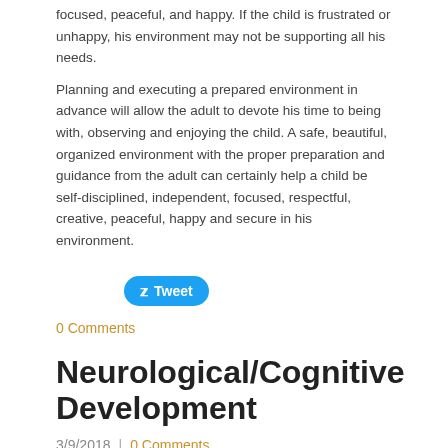focused, peaceful, and happy. If the child is frustrated or unhappy, his environment may not be supporting all his needs.
Planning and executing a prepared environment in advance will allow the adult to devote his time to being with, observing and enjoying the child. A safe, beautiful, organized environment with the proper preparation and guidance from the adult can certainly help a child be self-disciplined, independent, focused, respectful, creative, peaceful, happy and secure in his environment.
[Figure (other): Tweet button (Twitter share button)]
0 Comments
Neurological/Cognitive Development
3/9/2018  |  0 Comments
[Figure (photo): Partial photo visible at bottom of page, showing blurred background with light tones]